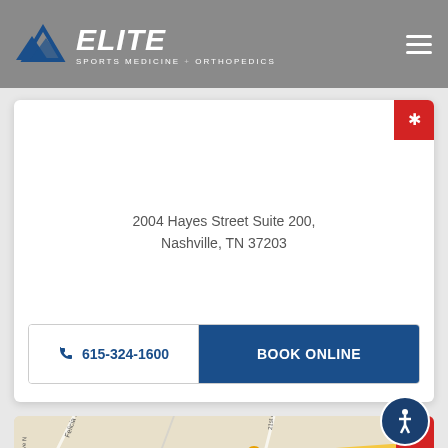Elite Sports Medicine + Orthopedics
2004 Hayes Street Suite 200, Nashville, TN 37203
615-324-1600  BOOK ONLINE
[Figure (map): Street map showing location near Starbucks, 21st Ave N, Felicia St, Nashville TN]